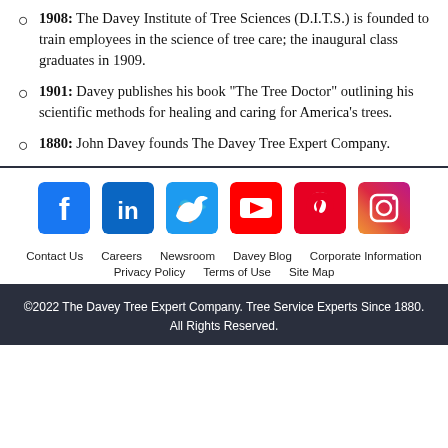1908: The Davey Institute of Tree Sciences (D.I.T.S.) is founded to train employees in the science of tree care; the inaugural class graduates in 1909.
1901: Davey publishes his book “The Tree Doctor” outlining his scientific methods for healing and caring for America’s trees.
1880: John Davey founds The Davey Tree Expert Company.
[Figure (infographic): Social media icons: Facebook, LinkedIn, Twitter, YouTube, Pinterest, Instagram]
Contact Us   Careers   Newsroom   Davey Blog   Corporate Information
Privacy Policy   Terms of Use   Site Map
©2022 The Davey Tree Expert Company. Tree Service Experts Since 1880. All Rights Reserved.